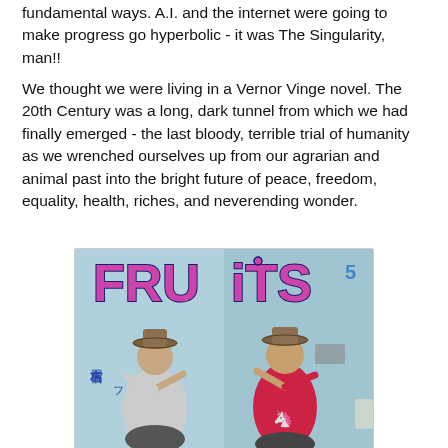fundamental ways. A.I. and the internet were going to make progress go hyperbolic - it was The Singularity, man!!
We thought we were living in a Vernor Vinge novel. The 20th Century was a long, dark tunnel from which we had finally emerged - the last bloody, terrible trial of humanity as we wrenched ourselves up from our agrarian and animal past into the bright future of peace, freedom, equality, health, riches, and neverending wonder.
[Figure (photo): Cover of FRUITS magazine, issue 5, showing two young women in cowboy hats and colorful outfits posing against a light blue wall, with Japanese text on the left side.]